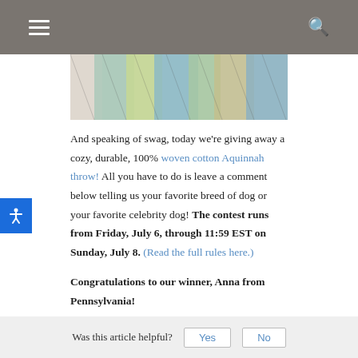Navigation bar with hamburger menu and search icon
[Figure (photo): Close-up photo of colorful woven cotton fabric in blue, green, yellow, and beige tones]
And speaking of swag, today we're giving away a cozy, durable, 100% woven cotton Aquinnah throw! All you have to do is leave a comment below telling us your favorite breed of dog or your favorite celebrity dog! The contest runs from Friday, July 6, through 11:59 EST on Sunday, July 8. (Read the full rules here.)
Congratulations to our winner, Anna from Pennsylvania!
Was this article helpful? Yes No